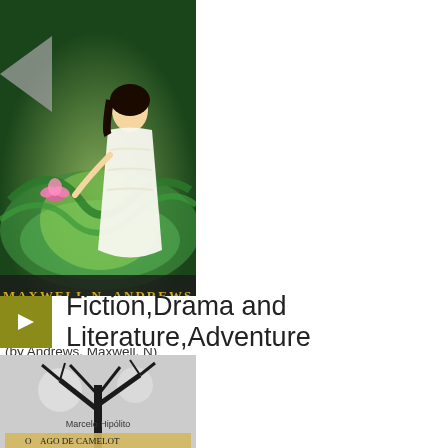[Figure (illustration): Book cover for 'Lighthouse of the Netherworlds' by Maxwell N. Andrews, showing a girl in white dress with glowing green swirls and a pink lotus flower, with author name in gold text at bottom]
Lighthouse of the Netherworlds (by Andrews, Maxwell, N)
Fiction,Drama and Literature,Adventure
[Figure (illustration): Book cover for 'O Mago de Camelot' by Marcelo Hipólito, showing a bare tree silhouette against a grey sky with a banner at bottom reading 'O Mago de Camelot']